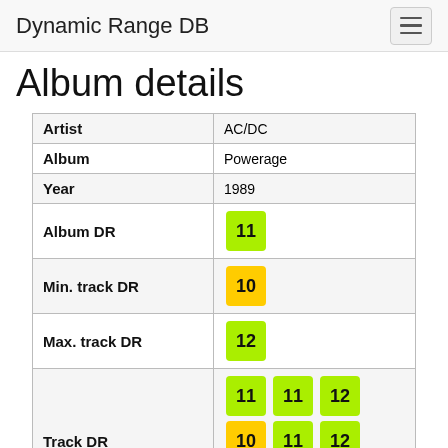Dynamic Range DB
Album details
| Field | Value |
| --- | --- |
| Artist | AC/DC |
| Album | Powerage |
| Year | 1989 |
| Album DR | 11 |
| Min. track DR | 10 |
| Max. track DR | 12 |
| Track DR | 11 11 12 10 11 12 12 11 11 |
| Codec | Free Lossless Audio Codec (FLAC) |